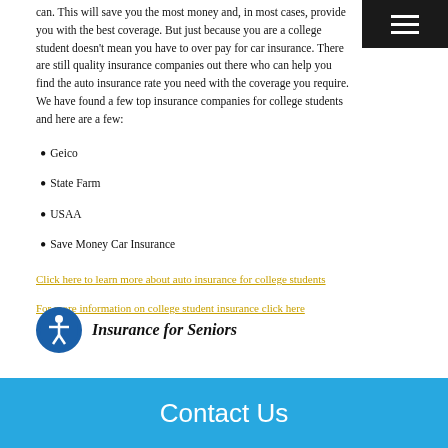can. This will save you the most money and, in most cases, provide you with the best coverage. But just because you are a college student doesn't mean you have to over pay for car insurance. There are still quality insurance companies out there who can help you find the auto insurance rate you need with the coverage you require. We have found a few top insurance companies for college students and here are a few:
Geico
State Farm
USAA
Save Money Car Insurance
Click here to learn more about auto insurance for college students
For more information on college student insurance click here
Insurance for Seniors
Contact Us